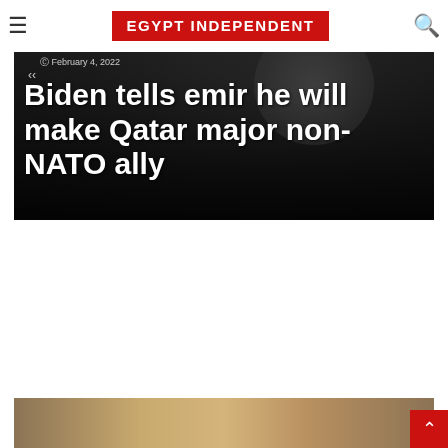Egypt Independent
[Figure (photo): Dark background hero image showing a circular emblem/seal, with white bold headline text overlaid: 'Biden tells emir he will make Qatar major non-NATO ally'. Date shown: February 4, 2022.]
Biden tells emir he will make Qatar major non-NATO ally
[Figure (photo): Bottom strip image showing gold/amber colored textile or fabric pattern.]